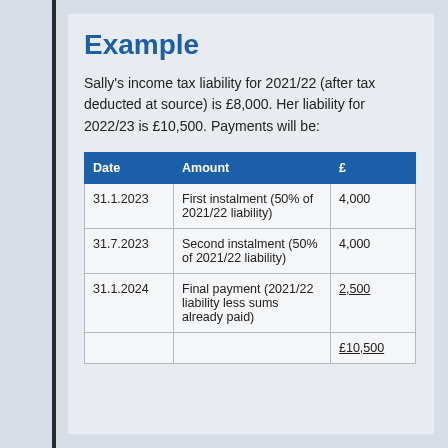Example
Sally's income tax liability for 2021/22 (after tax deducted at source) is £8,000. Her liability for 2022/23 is £10,500. Payments will be:
| Date | Amount | £ |
| --- | --- | --- |
| 31.1.2023 | First instalment (50% of 2021/22 liability) | 4,000 |
| 31.7.2023 | Second instalment (50% of 2021/22 liability) | 4,000 |
| 31.1.2024 | Final payment (2021/22 liability less sums already paid) | 2,500 |
|  |  | £10,500 |